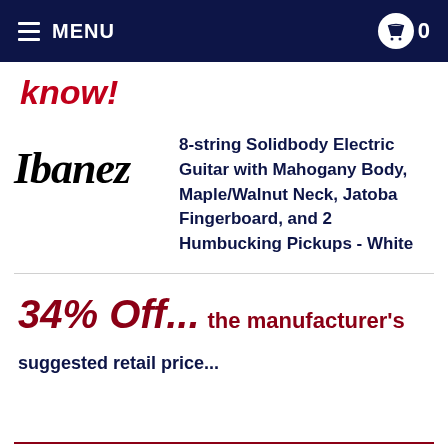MENU
know!
[Figure (logo): Ibanez brand logo in italic serif font]
8-string Solidbody Electric Guitar with Mahogany Body, Maple/Walnut Neck, Jatoba Fingerboard, and 2 Humbucking Pickups - White
34% Off... the manufacturer's suggested retail price...